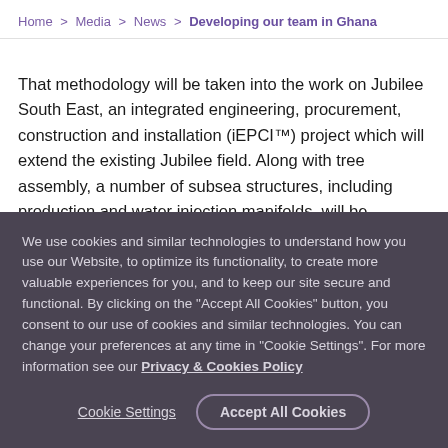Home > Media > News > Developing our team in Ghana
That methodology will be taken into the work on Jubilee South East, an integrated engineering, procurement, construction and installation (iEPCI™) project which will extend the existing Jubilee field. Along with tree assembly, a number of subsea structures, including production and water injection manifolds, will be fabricated in-country. The local team is ready to tackle the project.
We use cookies and similar technologies to understand how you use our Website, to optimize its functionality, to create more valuable experiences for you, and to keep our site secure and functional. By clicking on the "Accept All Cookies" button, you consent to our use of cookies and similar technologies. You can change your preferences at any time in "Cookie Settings". For more information see our Privacy & Cookies Policy
Cookie Settings | Accept All Cookies